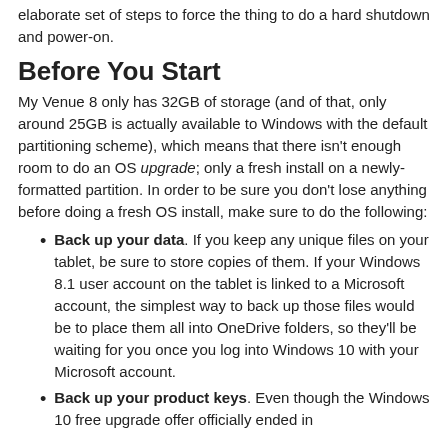elaborate set of steps to force the thing to do a hard shutdown and power-on.
Before You Start
My Venue 8 only has 32GB of storage (and of that, only around 25GB is actually available to Windows with the default partitioning scheme), which means that there isn't enough room to do an OS upgrade; only a fresh install on a newly-formatted partition. In order to be sure you don't lose anything before doing a fresh OS install, make sure to do the following:
Back up your data. If you keep any unique files on your tablet, be sure to store copies of them. If your Windows 8.1 user account on the tablet is linked to a Microsoft account, the simplest way to back up those files would be to place them all into OneDrive folders, so they'll be waiting for you once you log into Windows 10 with your Microsoft account.
Back up your product keys. Even though the Windows 10 free upgrade offer officially ended in